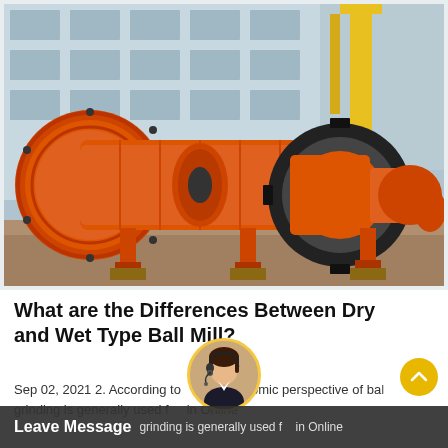[Figure (photo): Photograph of large orange industrial ball mill machines parked in a factory yard, with a yellow crane visible in the background and a multi-story industrial building behind.]
What are the Differences Between Dry and Wet Type Ball Mill?
Sep 02, 2021 2. According to the overall economic perspective of ball mill grinding is generally used for mineral online
Leave Message grinding is generally used for mineral online